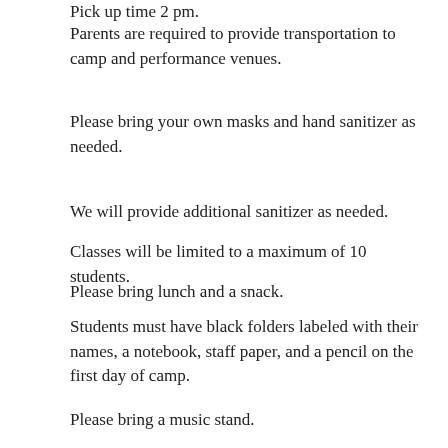Pick up time 2 pm.
Parents are required to provide transportation to camp and performance venues.
Please bring your own masks and hand sanitizer as needed.
We will provide additional sanitizer as needed.
Classes will be limited to a maximum of 10 students.
Please bring lunch and a snack.
Students must have black folders labeled with their names, a notebook, staff paper, and a pencil on the first day of camp.
Please bring a music stand.
[Figure (other): Share / Save social sharing button with Facebook, Twitter, and forward icons]
CONTACT INFO: